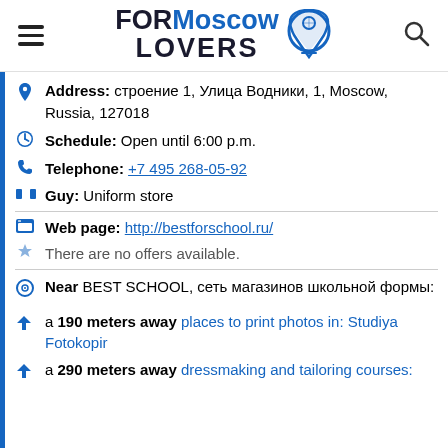FORMoscow LOVERS
Address: строение 1, Улица Водники, 1, Moscow, Russia, 127018
Schedule: Open until 6:00 p.m.
Telephone: +7 495 268-05-92
Guy: Uniform store
Web page: http://bestforschool.ru/
There are no offers available.
Near BEST SCHOOL, сеть магазинов школьной формы:
a 190 meters away places to print photos in: Studiya Fotokopir
a 290 meters away dressmaking and tailoring courses: